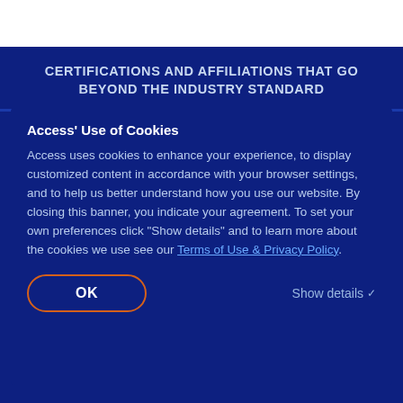CERTIFICATIONS AND AFFILIATIONS THAT GO BEYOND THE INDUSTRY STANDARD
Access' Use of Cookies
Access uses cookies to enhance your experience, to display customized content in accordance with your browser settings, and to help us better understand how you use our website. By closing this banner, you indicate your agreement. To set your own preferences click "Show details" and to learn more about the cookies we use see our Terms of Use & Privacy Policy.
OK
Show details